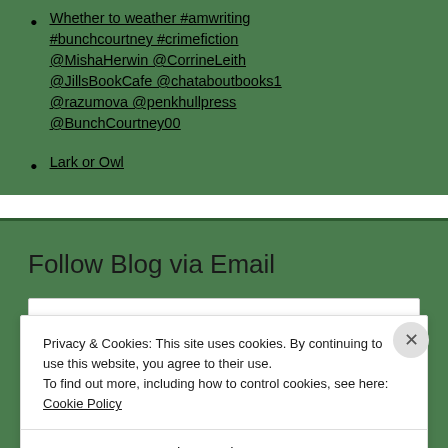Whether to weather #amwriting #bunchcourtney #crimefiction @MishaHerwin @CorrineLeith @JillsBookCafe @chataboutbooks1 @razumova @penkhullpress @BunchCourtney00
Lark or Owl
Follow Blog via Email
Privacy & Cookies: This site uses cookies. By continuing to use this website, you agree to their use.
To find out more, including how to control cookies, see here: Cookie Policy
Close and accept